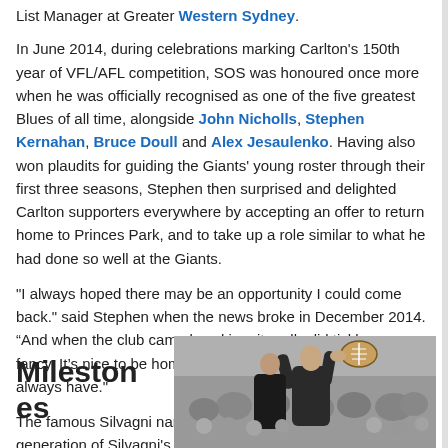List Manager at Greater Western Sydney.
In June 2014, during celebrations marking Carlton's 150th year of VFL/AFL competition, SOS was honoured once more when he was officially recognised as one of the five greatest Blues of all time, alongside John Nicholls, Stephen Kernahan, Bruce Doull and Alex Jesaulenko. Having also won plaudits for guiding the Giants' young roster through their first three seasons, Stephen then surprised and delighted Carlton supporters everywhere by accepting an offer to return home to Princes Park, and to take up a role similar to what he had done so well at the Giants.
"I always hoped there may be an opportunity I could come back." said Stephen when the news broke in December 2014. “And when the club came knocking, it really did tickle my fancy. It’s nice to be home. I love wearing the navy blue. I always have."
The famous Silvagni name would continue with a third generation of Silvagni's being drafted by the Blues with Jack Silvagni being firstly drafted by the Blues in the 2015 National Draft and then Ben Silvagni being drafted in the 2018 National Draft.
[Figure (photo): Black and white photograph of an Australian rules football player catching or marking the ball, with a crowd visible in the background.]
Milestones